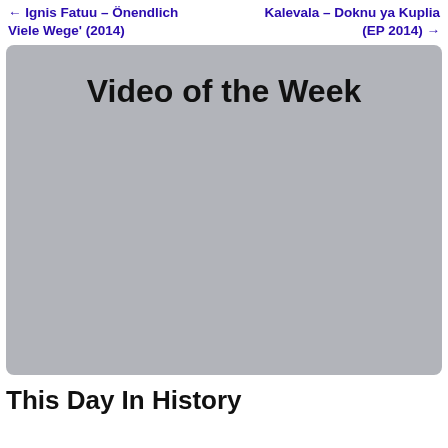← Ignis Fatuu – Önendlich Viele Wege' (2014)   Kalevala – Doknu ya Kuplia (EP 2014) →
[Figure (screenshot): Gray video embed placeholder box with title 'Video of the Week' displayed at the top center]
This Day In History